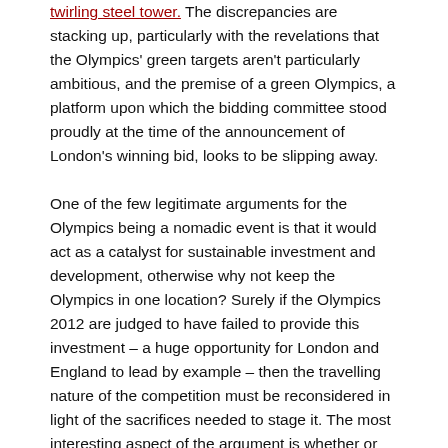twirling steel tower. The discrepancies are stacking up, particularly with the revelations that the Olympics' green targets aren't particularly ambitious, and the premise of a green Olympics, a platform upon which the bidding committee stood proudly at the time of the announcement of London's winning bid, looks to be slipping away.
One of the few legitimate arguments for the Olympics being a nomadic event is that it would act as a catalyst for sustainable investment and development, otherwise why not keep the Olympics in one location? Surely if the Olympics 2012 are judged to have failed to provide this investment – a huge opportunity for London and England to lead by example – then the travelling nature of the competition must be reconsidered in light of the sacrifices needed to stage it. The most interesting aspect of the argument is whether or not the various agencies behind the developments of the Olympics will be (or can be) held accountable, if indeed the legacies they promise do not materialise. The premise of a green Olympics was posted on this blog in the last few weeks, the trumpeting of positive grassroots sports and participation impacts has